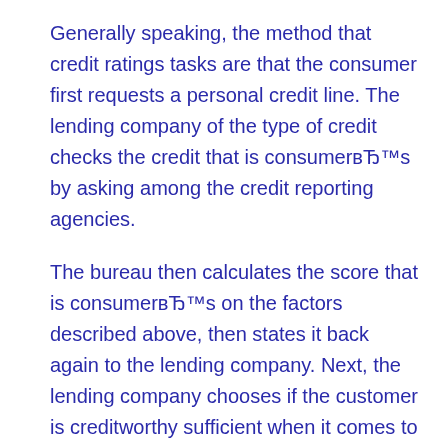Generally speaking, the method that credit ratings tasks are that the consumer first requests a personal credit line. The lending company of the type of credit checks the credit that is consumerвЂ™s by asking among the credit reporting agencies.
The bureau then calculates the score that is consumerвЂ™s on the factors described above, then states it back again to the lending company. Next, the lending company chooses if the customer is creditworthy sufficient when it comes to instrument that is financial they could offer.
The key term to keep in mind is вЂњcreditworthy sufficient.вЂќ Loan providers anticipate that a portion associated with individuals they lend to will default to their loan and become not capable of repayment. While you can find actions that loan providers decide to try avoid taking a